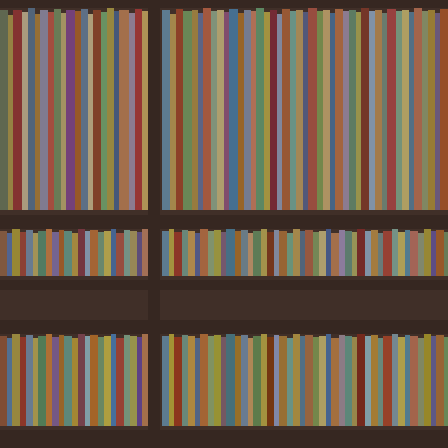[Figure (photo): A large bookshelf filled with many books of various colors and sizes, arranged on multiple horizontal shelves. The image has a muted, slightly dark and desaturated tone. The shelves appear to be wooden, dark brown in color. Books of red, blue, yellow, green, white, and other colors are packed tightly across four visible rows of shelving. A vertical divider is visible near the left-center of the image, suggesting two adjacent bookcases side by side.]